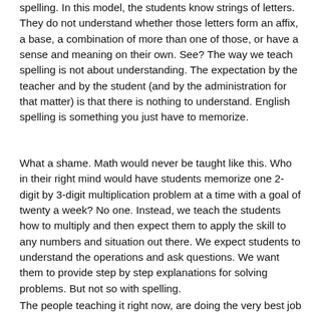spelling. In this model, the students know strings of letters. They do not understand whether those letters form an affix, a base, a combination of more than one of those, or have a sense and meaning on their own. See? The way we teach spelling is not about understanding. The expectation by the teacher and by the student (and by the administration for that matter) is that there is nothing to understand. English spelling is something you just have to memorize.
What a shame. Math would never be taught like this. Who in their right mind would have students memorize one 2-digit by 3-digit multiplication problem at a time with a goal of twenty a week? No one. Instead, we teach the students how to multiply and then expect them to apply the skill to any numbers and situation out there. We expect students to understand the operations and ask questions. We want them to provide step by step explanations for solving problems. But not so with spelling.
The people teaching it right now, are doing the very best job they can with it to...